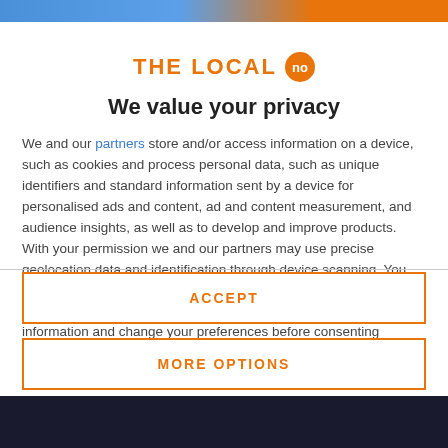[Figure (logo): THE LOCAL no logo — orange text with orange circle badge containing 'no']
We value your privacy
We and our partners store and/or access information on a device, such as cookies and process personal data, such as unique identifiers and standard information sent by a device for personalised ads and content, ad and content measurement, and audience insights, as well as to develop and improve products. With your permission we and our partners may use precise geolocation data and identification through device scanning. You may click to consent to our and our partners' processing as described above. Alternatively you may access more detailed information and change your preferences before consenting
ACCEPT
MORE OPTIONS